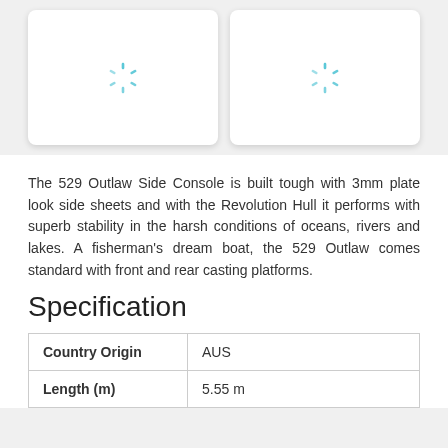[Figure (photo): Two image placeholders with loading spinners (cyan/blue spinning indicators) on a light gray background]
The 529 Outlaw Side Console is built tough with 3mm plate look side sheets and with the Revolution Hull it performs with superb stability in the harsh conditions of oceans, rivers and lakes. A fisherman's dream boat, the 529 Outlaw comes standard with front and rear casting platforms.
Specification
| Country Origin | AUS |
| --- | --- |
| Length (m) | 5.55 m |